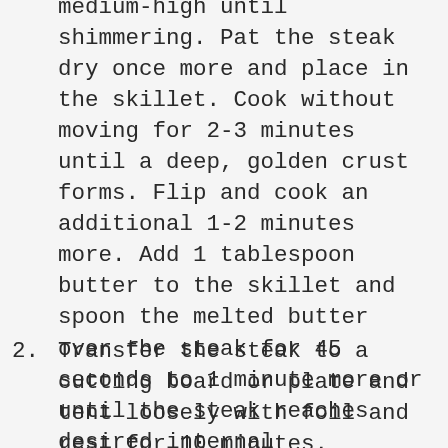medium-high until shimmering. Pat the steak dry once more and place in the skillet. Cook without moving for 2-3 minutes until a deep, golden crust forms. Flip and cook an additional 1-2 minutes more. Add 1 tablespoon butter to the skillet and spoon the melted butter over the steak for 45 seconds to 1 minute more or until the steak reaches desired internal temperature.
2. Transfer the steak to a cutting board or plate and tent loosely with foil and rest for 10 minutes. Carefully wipe out the skillet.